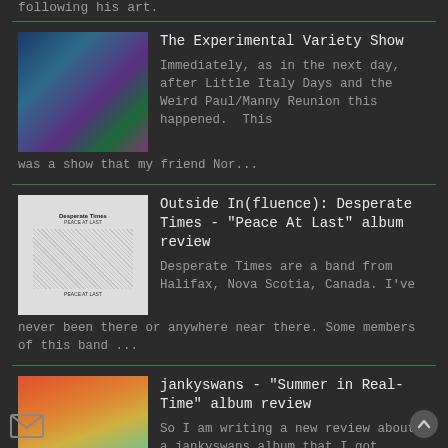following his art.
The Experimental Variety Show — Immediately, as in the next day, after Little Italy Days and the Weird Paul/Manny Reunion this happened.  This was a show that my friend Nor...
Outside In(fluence): Desperate Times - "Peace At Last" album review — Desperate Times are a band from Halifax, Nova Scotia, Canada. I've never been there or anywhere near there. Some members of this band ...
jankyswans - "Summer in Real-Time" album review — So I am writing a new review about a jankyswans album that I got earlier this month. The album is called Summer in Real-Time , but as I am w...
Last Minute Kagedama — I was asked to play a show on August 7th only the day before. I was bringing the PA too. Another band had dropped